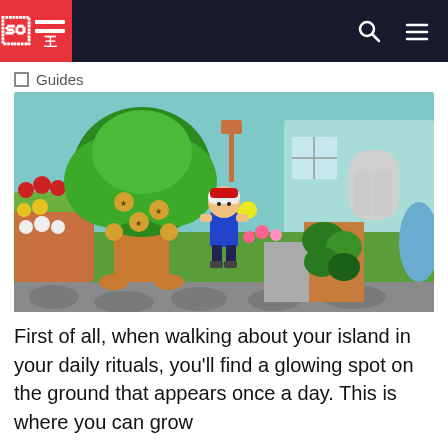Guides
[Figure (screenshot): Animal Crossing: New Horizons screenshot showing a player character wearing a white and red cap and blue vest, standing on a green island. Behind the character is a large tree with star-shaped items hanging from it, a colorful flower garden on the left with red, yellow, and white flowers, a teal-colored house with a white arched door in the background, sculpted bushes, a dirt path, and a pond on the right.]
First of all, when walking about your island in your daily rituals, you'll find a glowing spot on the ground that appears once a day. This is where you can grow your first Animal Crossing money tree! Get...